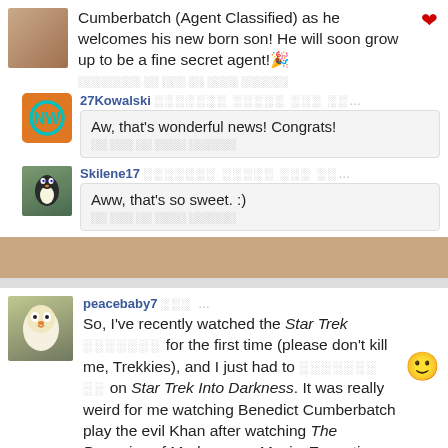Cumberbatch (Agent Classified) as he welcomes his new born son! He will soon grow up to be a fine secret agent!🎉
27Kowalski [placeholder] ... Aw, that's wonderful news! Congrats!
Skilene17 [placeholder] ... Aww, that's so sweet. :)
peacebaby7 [placeholder] ... So, I've recently watched the Star Trek [placeholder] for the first time (please don't kill me, Trekkies), and I just had to [placeholder] on Star Trek Into Darkness. It was really weird for me watching Benedict Cumberbatch play the evil Khan after watching The Penguins of Madagascar Movie. Every time Khan spoke, I kept picturing Classified, which was really